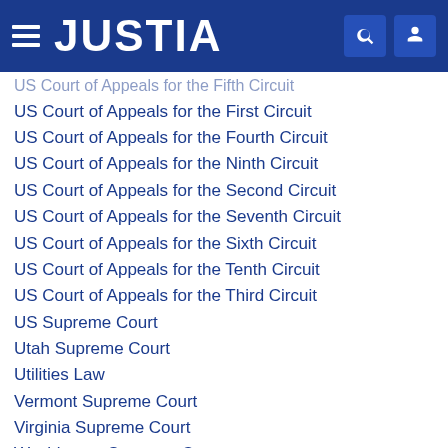JUSTIA
US Court of Appeals for the Fifth Circuit
US Court of Appeals for the First Circuit
US Court of Appeals for the Fourth Circuit
US Court of Appeals for the Ninth Circuit
US Court of Appeals for the Second Circuit
US Court of Appeals for the Seventh Circuit
US Court of Appeals for the Sixth Circuit
US Court of Appeals for the Tenth Circuit
US Court of Appeals for the Third Circuit
US Supreme Court
Utah Supreme Court
Utilities Law
Vermont Supreme Court
Virginia Supreme Court
Washington Supreme Court
West Virginia Supreme Court of Appeals
White Collar Crime
Wisconsin Supreme Court
Wyoming Supreme Court
Zoning, Planning & Land Use